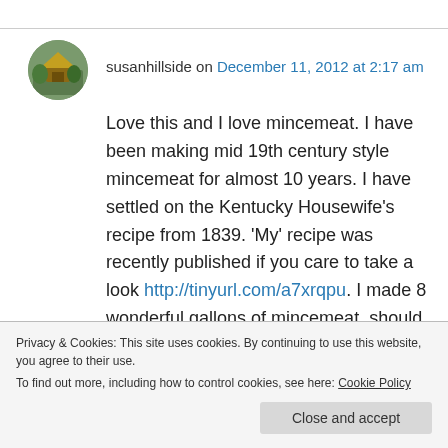susanhillside on December 11, 2012 at 2:17 am
Love this and I love mincemeat. I have been making mid 19th century style mincemeat for almost 10 years. I have settled on the Kentucky Housewife's recipe from 1839. 'My' recipe was recently published if you care to take a look http://tinyurl.com/a7xrqpu. I made 8 wonderful gallons of mincemeat. should last at least till February. I serve it to my guests at my historic
Privacy & Cookies: This site uses cookies. By continuing to use this website, you agree to their use.
To find out more, including how to control cookies, see here: Cookie Policy